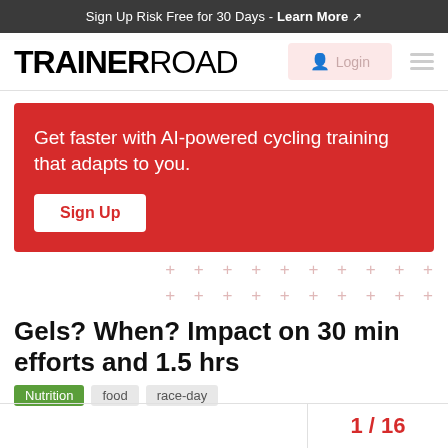Sign Up Risk Free for 30 Days - Learn More
[Figure (logo): TrainerRoad logo with Login button and hamburger menu]
[Figure (infographic): Red banner: Get faster with AI-powered cycling training that adapts to you. Sign Up button.]
Gels? When? Impact on 30 min efforts and 1.5 hrs
Nutrition  food  race-day
1 / 16